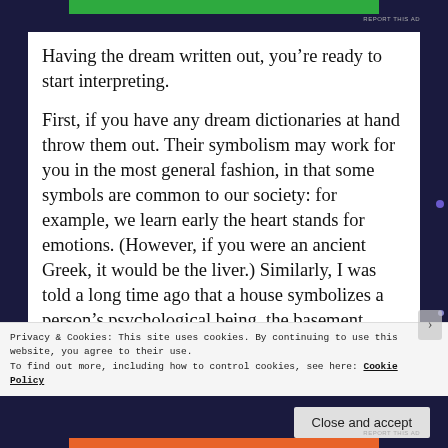Having the dream written out, you’re ready to start interpreting.
First, if you have any dream dictionaries at hand throw them out. Their symbolism may work for you in the most general fashion, in that some symbols are common to our society: for example, we learn early the heart stands for emotions. (However, if you were an ancient Greek, it would be the liver.) Similarly, I was told a long time ago that a house symbolizes a person’s psychological being, the basement being the
Privacy & Cookies: This site uses cookies. By continuing to use this website, you agree to their use.
To find out more, including how to control cookies, see here: Cookie Policy